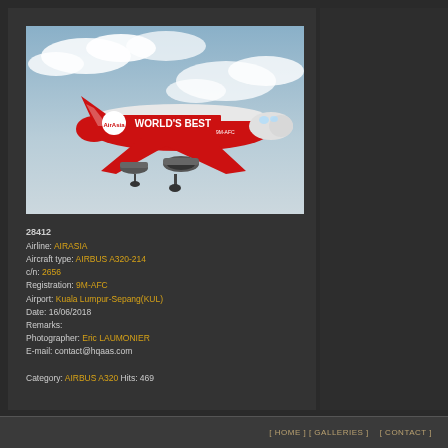[Figure (photo): AirAsia Airbus A320-214 in red livery with 'WORLD'S BEST' text, registration 9M-AFC, photographed in flight at Kuala Lumpur-Sepang airport]
28412
Airline: AIRASIA
Aircraft type: AIRBUS A320-214
c/n: 2656
Registration: 9M-AFC
Airport: Kuala Lumpur-Sepang(KUL)
Date: 16/06/2018
Remarks:
Photographer: Eric LAUMONIER
E-mail: contact@hqaas.com

Category: AIRBUS A320 Hits: 469
[ HOME ] [ GALLERIES ]    [ CONTACT ]